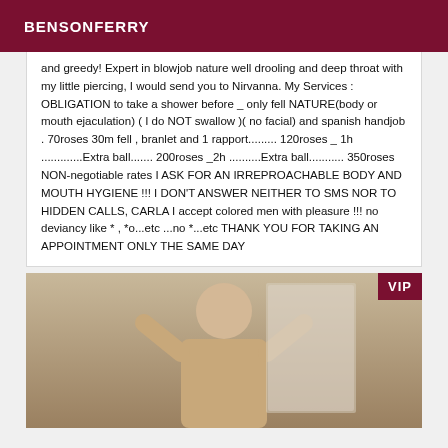BENSONFERRY
and greedy! Expert in blowjob nature well drooling and deep throat with my little piercing, I would send you to Nirvanna. My Services : OBLIGATION to take a shower before _ only fell NATURE(body or mouth ejaculation) ( I do NOT swallow )( no facial) and spanish handjob . 70roses 30m fell , branlet and 1 rapport......... 120roses _ 1h .............Extra ball....... 200roses _2h ..........Extra ball........... 350roses NON-negotiable rates I ASK FOR AN IRREPROACHABLE BODY AND MOUTH HYGIENE !!! I DON'T ANSWER NEITHER TO SMS NOR TO HIDDEN CALLS, CARLA I accept colored men with pleasure !!! no deviancy like * , *o...etc ...no *...etc THANK YOU FOR TAKING AN APPOINTMENT ONLY THE SAME DAY
[Figure (photo): Photo of a person in a room, with a VIP badge overlay in the top right corner]